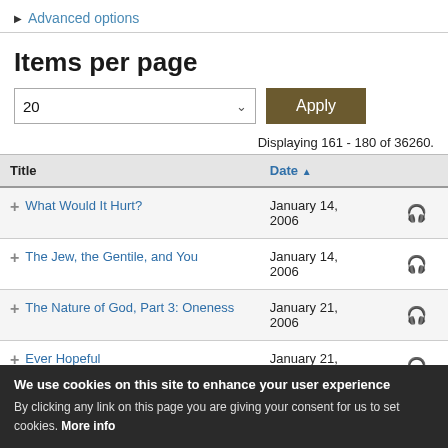▶ Advanced options
Items per page
20  Apply
Displaying 161 - 180 of 36260.
| Title | Date ▲ |  |
| --- | --- | --- |
| + What Would It Hurt? | January 14, 2006 | 🎧 |
| + The Jew, the Gentile, and You | January 14, 2006 | 🎧 |
| + The Nature of God, Part 3: Oneness | January 21, 2006 | 🎧 |
| + Ever Hopeful | January 21, 2006 | 🎧 |
We use cookies on this site to enhance your user experience By clicking any link on this page you are giving your consent for us to set cookies. More info